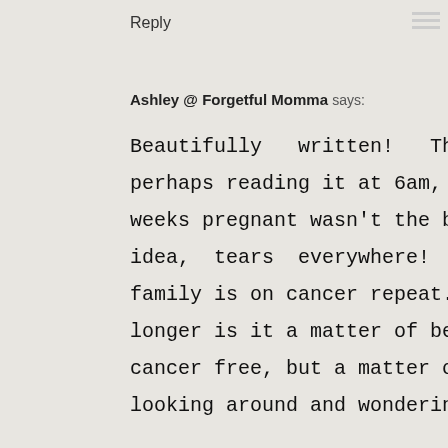Reply
Ashley @ Forgetful Momma says:
Beautifully written! Though perhaps reading it at 6am, 32 weeks pregnant wasn't the best idea, tears everywhere! My family is on cancer repeat. No longer is it a matter of being cancer free, but a matter of looking around and wondering